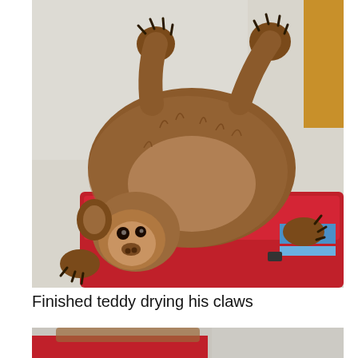[Figure (photo): A baby sloth lying on its back on top of a red toolbox, with paws raised up in the air, looking at the camera. The sloth has brown fur and is in what appears to be an indoor setting.]
Finished teddy drying his claws
[Figure (photo): Partial view of a second photo showing what appears to be a sloth near a red surface, cropped at the bottom of the page.]